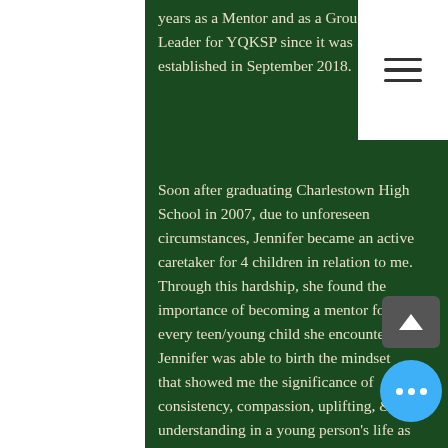years as a Mentor and as a Group Leader for YQKSP since it was established in September 2018.
Soon after graduating Charlestown High School in 2007, due to unforeseen circumstances, Jennifer became an active caretaker for 4 children in relation to me. Through this hardship, she found the importance of becoming a mentor for every teen/young child she encounters. Jennifer was able to birth the mindset that showed me the significance of consistency, compassion, uplifting, & understanding in a young person's life as those things not only add value, but also become the solid foundation for their futures.